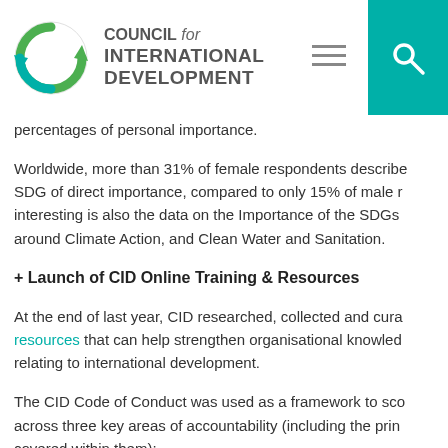COUNCIL for INTERNATIONAL DEVELOPMENT
percentages of personal importance.
Worldwide, more than 31% of female respondents described this SDG of direct importance, compared to only 15% of male respondents. Interesting is also the data on the Importance of the SDGs around Climate Action, and Clean Water and Sanitation.
+ Launch of CID Online Training & Resources
At the end of last year, CID researched, collected and curated resources that can help strengthen organisational knowledge relating to international development.
The CID Code of Conduct was used as a framework to score across three key areas of accountability (including the principles covered within them):